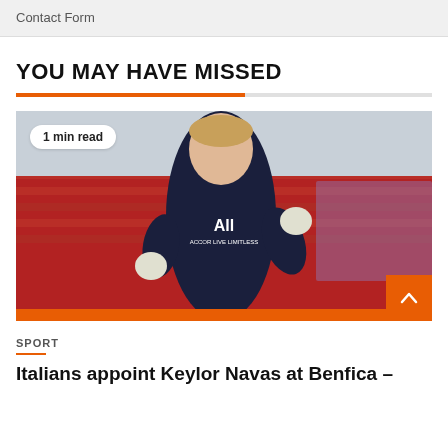Contact Form
YOU MAY HAVE MISSED
[Figure (photo): A goalkeeper wearing a dark PSG jersey with 'ALL ACCOR LIVE LIMITLESS' sponsor, giving a thumbs up gesture, with blurred red stadium seats in the background. A '1 min read' badge overlays the top left corner.]
SPORT
Italians appoint Keylor Navas at Benfica –